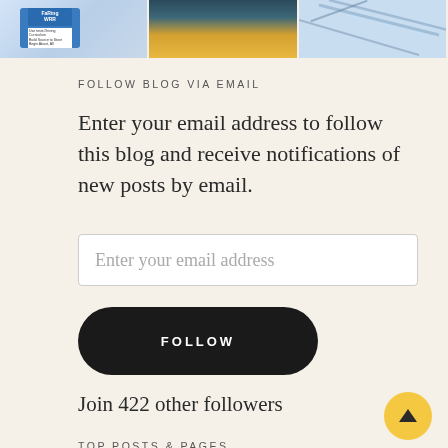[Figure (photo): Three thumbnail images in a horizontal strip at the top: first shows a book/curriculum cover with blue background, second shows a sunset/sky scene with orange and teal tones, third shows a light blue abstract or sky image.]
FOLLOW BLOG VIA EMAIL
Enter your email address to follow this blog and receive notifications of new posts by email.
Enter your email address
FOLLOW
Join 422 other followers
TOP POSTS & PAGES